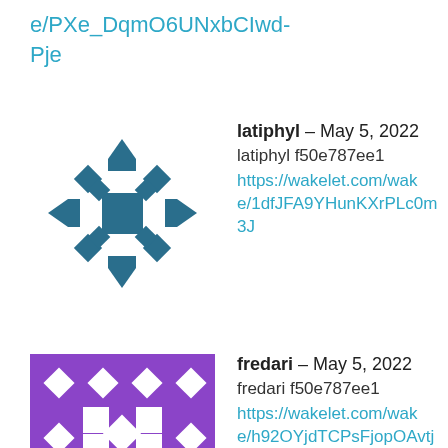e/PXe_DqmO6UNxbCIwd-Pje
[Figure (logo): Wakelet-style icon: dark teal bracket/arrow move cursor symbol on white background, resembling a move/pan tool icon]
latiphyl – May 5, 2022
latiphyl f50e787ee1
https://wakelet.com/wake/1dfJFA9YHunKXrPLc0m3J
[Figure (logo): Purple square avatar with white diamond and square pattern, resembling a decorative tile/mosaic logo]
fredari – May 5, 2022
fredari f50e787ee1
https://wakelet.com/wake/h92OYjdTCPsFjopOAvtjp